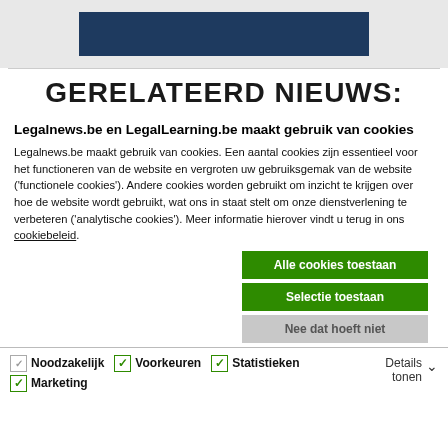[Figure (other): Top banner with dark navy blue rectangle on light gray background]
GERELATEERD NIEUWS:
Legalnews.be en LegalLearning.be maakt gebruik van cookies
Legalnews.be maakt gebruik van cookies. Een aantal cookies zijn essentieel voor het functioneren van de website en vergroten uw gebruiksgemak van de website ('functionele cookies'). Andere cookies worden gebruikt om inzicht te krijgen over hoe de website wordt gebruikt, wat ons in staat stelt om onze dienstverlening te verbeteren ('analytische cookies'). Meer informatie hierover vindt u terug in ons cookiebeleid.
Alle cookies toestaan
Selectie toestaan
Nee dat hoeft niet
|  | Details tonen |
| --- | --- |
| Noodzakelijk  Voorkeuren  Statistieken  Marketing |  |